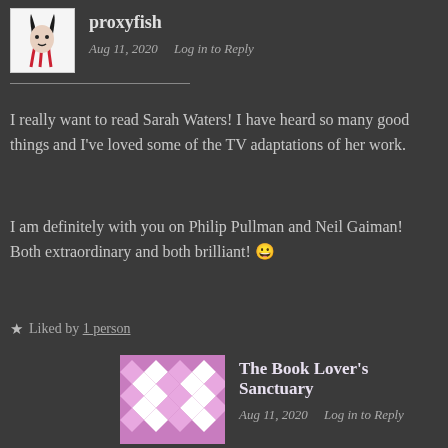proxyfish — Aug 11, 2020 — Log in to Reply
I really want to read Sarah Waters! I have heard so many good things and I've loved some of the TV adaptations of her work.
I am definitely with you on Philip Pullman and Neil Gaiman! Both extraordinary and both brilliant! 😀
★ Liked by 1 person
The Book Lover's Sanctuary — Aug 11, 2020 — Log in to Reply